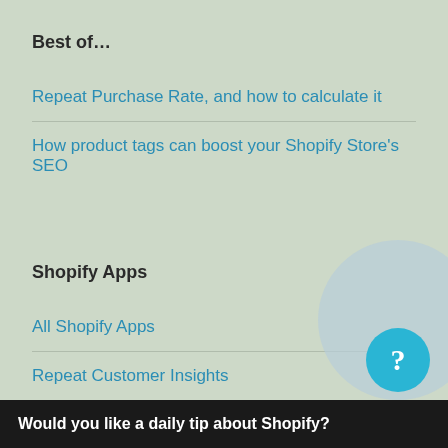Best of…
Repeat Purchase Rate, and how to calculate it
How product tags can boost your Shopify Store's SEO
Shopify Apps
All Shopify Apps
Repeat Customer Insights
Support and Knowledge Base
Repeat Customer Insights API documentation
Would you like a daily tip about Shopify?